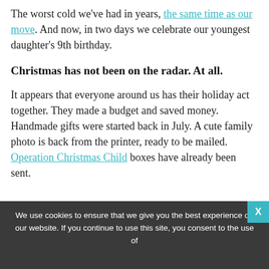The worst cold we've had in years, the same time as our move. And now, in two days we celebrate our youngest daughter's 9th birthday.
Christmas has not been on the radar. At all.
It appears that everyone around us has their holiday act together. They made a budget and saved money. Handmade gifts were started back in July. A cute family photo is back from the printer, ready to be mailed. Operation Christmas Child boxes have already been sent.
These theoretical people, I know they're out there, I've seen them on social media — the hall…
We use cookies to ensure that we give you the best experience on our website. If you continue to use this site, you consent to the use of
[Figure (advertisement): Live Online STEM Classes advertisement for MyFunScience.com with a Learn more button]